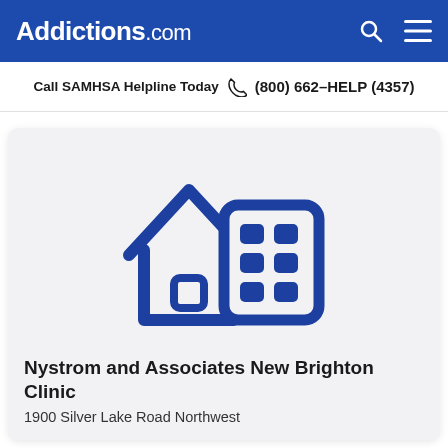Addictions.com
Call SAMHSA Helpline Today  (800) 662-HELP (4357)
[Figure (illustration): Icon of a house and a building/clinic, rendered in dark blue on light grey background, representing a treatment facility.]
Nystrom and Associates New Brighton Clinic
1900 Silver Lake Road Northwest